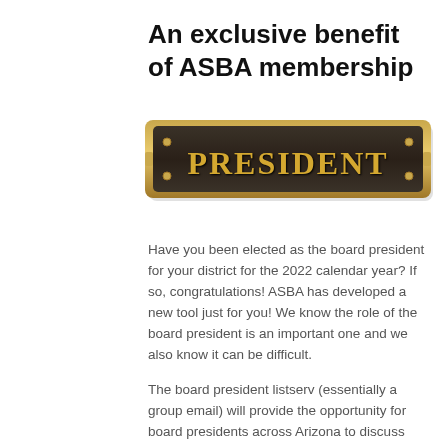An exclusive benefit of ASBA membership
[Figure (photo): A brass/bronze nameplate with the word PRESIDENT engraved in large capital letters, with a dark metallic background and gold trim border.]
Have you been elected as the board president for your district for the 2022 calendar year? If so, congratulations! ASBA has developed a new tool just for you! We know the role of the board president is an important one and we also know it can be difficult.
The board president listserv (essentially a group email) will provide the opportunity for board presidents across Arizona to discuss current trends/issues and the chance to hear the strategies